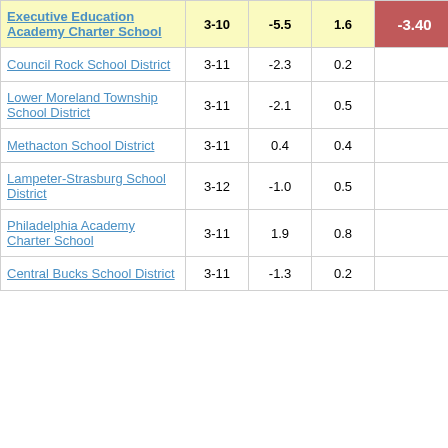|  |  |  |  |  |
| --- | --- | --- | --- | --- |
| Executive Education Academy Charter School | 3-10 | -5.5 | 1.6 | -3.40 |
| Council Rock School District | 3-11 | -2.3 | 0.2 | -9.78 |
| Lower Moreland Township School District | 3-11 | -2.1 | 0.5 | -4.36 |
| Methacton School District | 3-11 | 0.4 | 0.4 | 1.17 |
| Lampeter-Strasburg School District | 3-12 | -1.0 | 0.5 | -2.24 |
| Philadelphia Academy Charter School | 3-11 | 1.9 | 0.8 | 2.50 |
| Central Bucks School District | 3-11 | -1.3 | 0.2 | -7.12 |